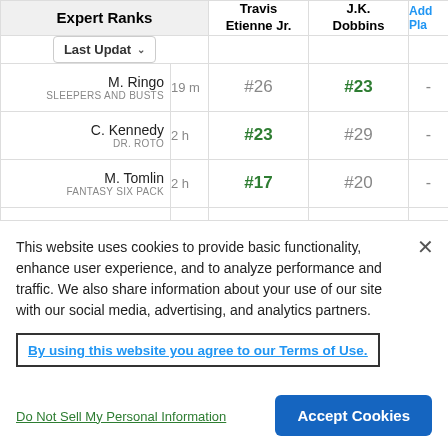| Expert | Time | Travis Etienne Jr. | J.K. Dobbins | Add Pla |
| --- | --- | --- | --- | --- |
| M. Ringo / SLEEPERS AND BUSTS | 19 m | #26 | #23 | - |
| C. Kennedy / DR. ROTO | 2 h | #23 | #29 | - |
| M. Tomlin / FANTASY SIX PACK | 2 h | #17 | #20 | - |
| J. Boggis / FANTASY FOOTBALL E... | 3 h | #15 | #27 | - |
| B. Evans | 3 h | #22 | #22 |  |
This website uses cookies to provide basic functionality, enhance user experience, and to analyze performance and traffic. We also share information about your use of our site with our social media, advertising, and analytics partners.
By using this website you agree to our Terms of Use.
Do Not Sell My Personal Information
Accept Cookies